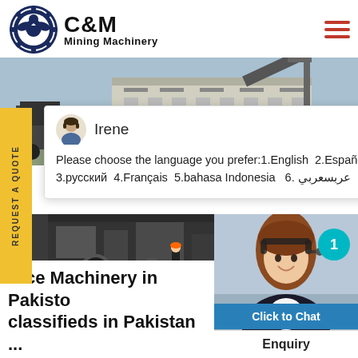[Figure (logo): C&M Mining Machinery logo with eagle/gear icon]
[Figure (photo): Industrial mining site with machinery and warehouse buildings in background]
REQUEST A QUOTE
[Figure (screenshot): Chat popup with avatar of Irene saying: Please choose the language you prefer:1.English 2.Español 3.русский 4.Français 5.bahasa Indonesia 6. عربسعربي]
[Figure (photo): Heavy machinery/mining equipment close-up]
[Figure (photo): Customer service woman with headset smiling, with teal badge showing 1]
Click to Chat
Enquiry
Rice Machinery in Pakistan classifieds in Pakistan ...